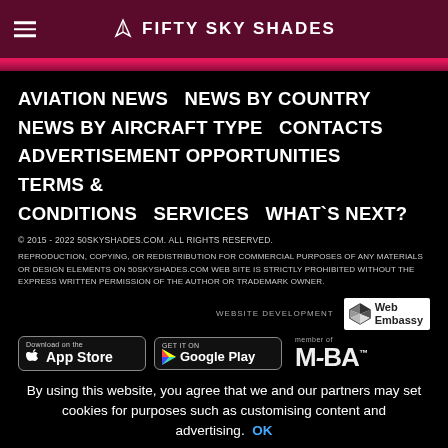FIFTY SKY SHADES
AVIATION NEWS   NEWS BY COUNTRY
NEWS BY AIRCRAFT TYPE   CONTACTS
ADVERTISEMENT OPPORTUNITIES
TERMS & CONDITIONS   SERVICES   WHAT`S NEXT?
© 2015 - 2022 50SKYSHADES.COM. ALL RIGHTS RESERVED.
REPRODUCTION, COPYING, OR REDISTRIBUTION FOR COMMERCIAL PURPOSES OF ANY MATERIALS OR DESIGN ELEMENTS ON 50SKYSHADES.COM WEB SITE IS STRICTLY PROHIBITED WITHOUT THE EXPRESS WRITTEN PERMISSION OF THE AUTHOR OR TRADEMARK OWNER.
WEBSITE DEVELOPMENT
[Figure (logo): Web Embassy logo]
[Figure (logo): Download on the App Store badge]
[Figure (logo): GET IT ON Google Play badge]
[Figure (logo): member of MEBA logo]
By using this website, you agree that we and our partners may set cookies for purposes such as customising content and advertising. OK